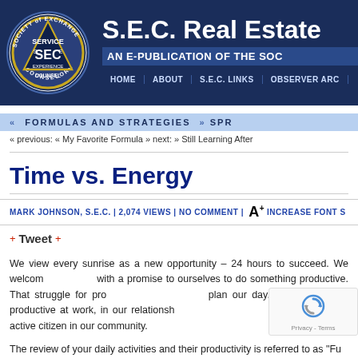[Figure (logo): SEC Society of Exchange Counselors circular logo with triangle and text SERVICE, EXPERIENCE, COUNSEL on dark blue background]
S.E.C. Real Estate
AN E-PUBLICATION OF THE SOCIETY
HOME | ABOUT | S.E.C. LINKS | OBSERVER ARCHIVES
FORMULAS AND STRATEGIES
« previous: « My Favorite Formula » next: » Still Learning After
Time vs. Energy
MARK JOHNSON, S.E.C. | 2,074 VIEWS | NO COMMENT | A+ INCREASE FONT S
+ Tweet +
We view every sunrise as a new opportunity – 24 hours to succeed. We welcome each day with a promise to ourselves to do something productive. That struggle for productivity drives us to plan our day. We strive to be productive at work, in our relationships with family and friends, and as an active citizen in our community.
The review of your daily activities and their productivity is referred to as "Fu